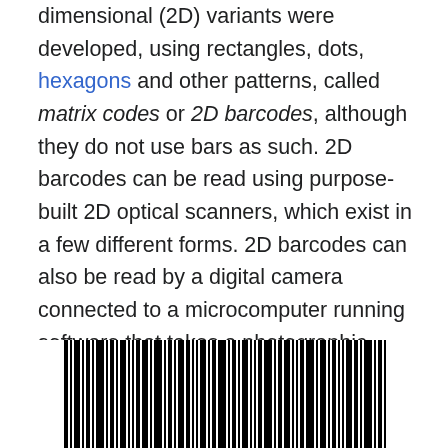dimensional (2D) variants were developed, using rectangles, dots, hexagons and other patterns, called matrix codes or 2D barcodes, although they do not use bars as such. 2D barcodes can be read using purpose-built 2D optical scanners, which exist in a few different forms. 2D barcodes can also be read by a digital camera connected to a microcomputer running software that takes a photographic image of the barcode and analyzes the image to deconstruct and decode the 2D barcode. A mobile device with an inbuilt camera, such as smartphone, can function as the latter type of 2D barcode reader using specialized application software (The same sort of mobile device could also read 1D barcodes, depending on the application software).
[Figure (other): A 1D barcode (linear barcode) shown at the bottom of the page]